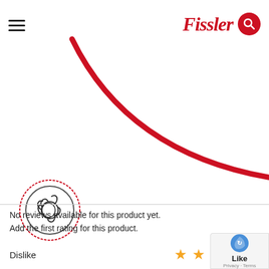[Figure (logo): Fissler brand logo in red cursive font with hamburger menu icon on left and red search circle icon on right]
[Figure (illustration): Large red curved arc resembling the bottom of a circle or pot, decorative brand element]
[Figure (illustration): Circular icon with red border showing a hand gripping a pressure cooker valve or handle, line art style]
No reviews available for this product yet.
Add the first rating for this product.
Dislike
[Figure (other): Five gold/yellow star rating icons]
[Figure (other): reCAPTCHA badge with Privacy and Terms links and Like text]